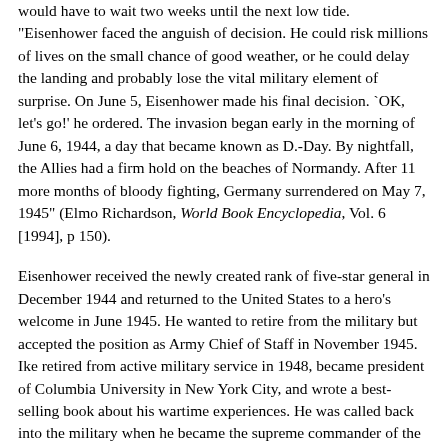would have to wait two weeks until the next low tide. "Eisenhower faced the anguish of decision. He could risk millions of lives on the small chance of good weather, or he could delay the landing and probably lose the vital military element of surprise. On June 5, Eisenhower made his final decision. `OK, let's go!' he ordered. The invasion began early in the morning of June 6, 1944, a day that became known as D.-Day. By nightfall, the Allies had a firm hold on the beaches of Normandy. After 11 more months of bloody fighting, Germany surrendered on May 7, 1945" (Elmo Richardson, World Book Encyclopedia, Vol. 6 [1994], p 150).
Eisenhower received the newly created rank of five-star general in December 1944 and returned to the United States to a hero's welcome in June 1945. He wanted to retire from the military but accepted the position as Army Chief of Staff in November 1945. Ike retired from active military service in 1948, became president of Columbia University in New York City, and wrote a best-selling book about his wartime experiences. He was called back into the military when he became the supreme commander of the newly formed North Atlantic Treaty Organization (NATO) forces in Europe. He was eager for the opportunity to work with the unique